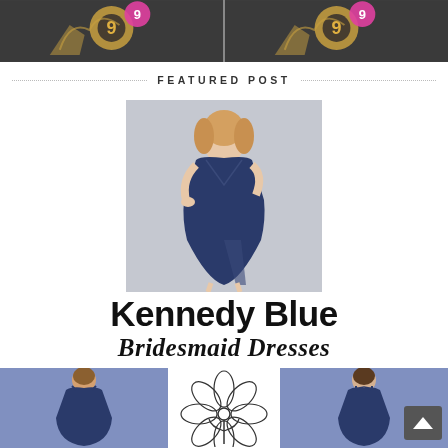[Figure (photo): Top banner with two side-by-side images showing decorative number 9 displays with gold and pink accents on dark backgrounds]
FEATURED POST
[Figure (photo): Model wearing a navy blue bridesmaid dress with deep V-neckline, flowing chiffon skirt with a slit, standing against a light gray background]
Kennedy Blue
Bridesmaid Dresses
[Figure (photo): Three images in a row: left shows a model in navy blue spaghetti-strap bridesmaid gown, center shows a line-art flower illustration, right shows a model in navy blue high-neck bridesmaid gown]